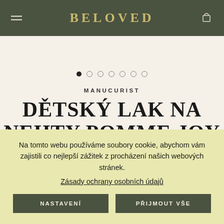BELOVED
[Figure (other): Carousel dot indicators: one filled black dot followed by six empty circle dots]
MANUCURIST
DĚTSKÝ LAK NA NEHTY POMME JOY KIKI
Na tomto webu používáme soubory cookie, abychom vám zajistili co nejlepší zážitek z procházení našich webových stránek.
Zásady ochrany osobních údajů
NASTAVENÍ
PŘIJMOUT VŠE